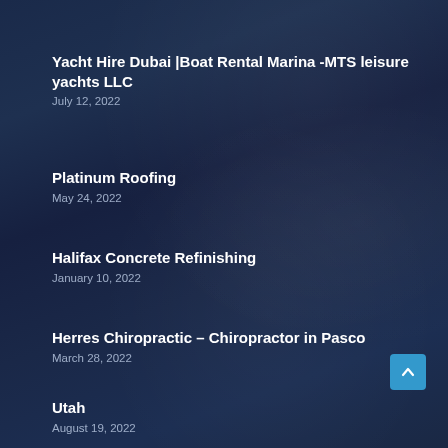Yacht Hire Dubai |Boat Rental Marina -MTS leisure yachts LLC
July 12, 2022
Platinum Roofing
May 24, 2022
Halifax Concrete Refinishing
January 10, 2022
Herres Chiropractic – Chiropractor in Pasco
March 28, 2022
Utah
August 19, 2022